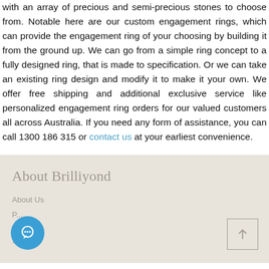with an array of precious and semi-precious stones to choose from. Notable here are our custom engagement rings, which can provide the engagement ring of your choosing by building it from the ground up. We can go from a simple ring concept to a fully designed ring, that is made to specification. Or we can take an existing ring design and modify it to make it your own. We offer free shipping and additional exclusive service like personalized engagement ring orders for our valued customers all across Australia. If you need any form of assistance, you can call 1300 186 315 or contact us at your earliest convenience.
About Brilliyond
About Us
[Figure (other): Chat button overlay (blue circle with chat icon) at bottom left, and a scroll-to-top button (square with upward arrow) at bottom right of the footer section.]